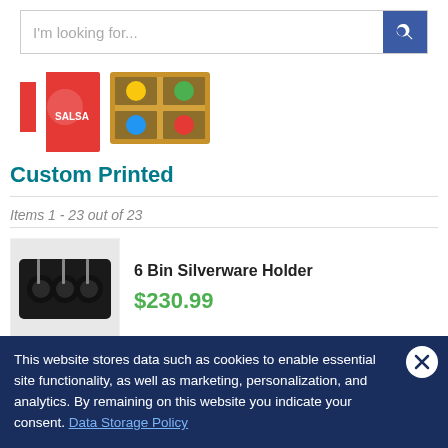[Figure (screenshot): Search bar with placeholder text 'I'm looking for...' and a blue search button with magnifying glass icon]
[Figure (photo): Two product images: a red box with logo and a wooden tray with circular compartments]
Custom Printed
Items 1 - 23 out of 23
[Figure (photo): Black 6 Bin Silverware Holder product photo]
6 Bin Silverware Holder
$230.99
This website stores data such as cookies to enable essential site functionality, as well as marketing, personalization, and analytics. By remaining on this website you indicate your consent. Data Storage Policy